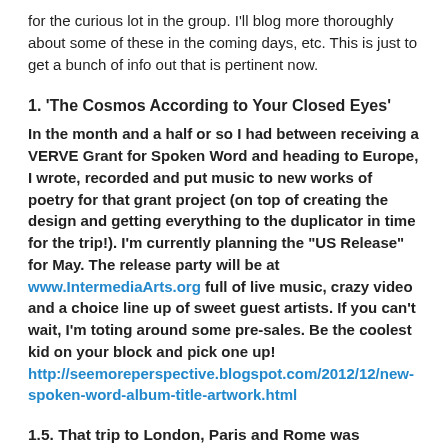for the curious lot in the group. I'll blog more thoroughly about some of these in the coming days, etc. This is just to get a bunch of info out that is pertinent now.
1. 'The Cosmos According to Your Closed Eyes'
In the month and a half or so I had between receiving a VERVE Grant for Spoken Word and heading to Europe, I wrote, recorded and put music to new works of poetry for that grant project (on top of creating the design and getting everything to the duplicator in time for the trip!). I'm currently planning the "US Release" for May. The release party will be at www.IntermediaArts.org full of live music, crazy video and a choice line up of sweet guest artists. If you can't wait, I'm toting around some pre-sales. Be the coolest kid on your block and pick one up! http://seemoreperspective.blogspot.com/2012/12/new-spoken-word-album-title-artwork.html
1.5. That trip to London, Paris and Rome was beautiful.